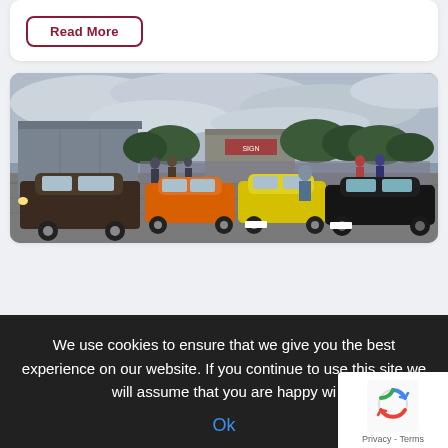Read More
[Figure (photo): Car show at an airfield/industrial estate. Multiple cars parked including a dark brown/black classic car, orange, yellow, and black sports cars (including what appears to be a Porsche and a McLaren-style supercar). Crowd of people in background. Grey cloudy sky. Large grey industrial building on the left, trees in the background.]
We use cookies to ensure that we give you the best experience on our website. If you continue to use this site we will assume that you are happy wi...
Ok